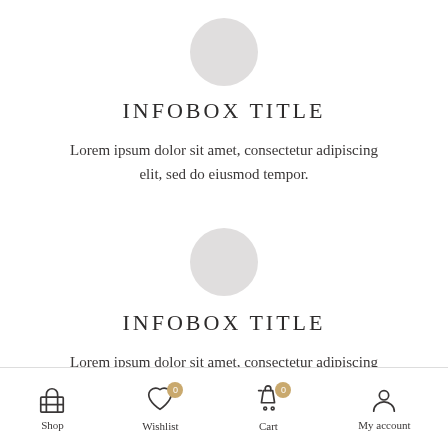[Figure (illustration): Light gray circle avatar placeholder for infobox 1]
INFOBOX TITLE
Lorem ipsum dolor sit amet, consectetur adipiscing elit, sed do eiusmod tempor.
[Figure (illustration): Light gray circle avatar placeholder for infobox 2]
INFOBOX TITLE
Lorem ipsum dolor sit amet, consectetur adipiscing elit, sed do eiusmod tempor.
[Figure (illustration): Light gray circle avatar placeholder (partial, third infobox)]
[Figure (illustration): Back to top circular button with chevron up icon]
Shop  Wishlist  Cart  My account